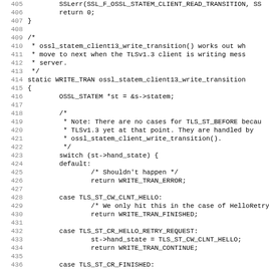[Figure (screenshot): Source code listing showing lines 405-437 of a C file implementing ossl_statem_client13_write_transition() function for TLS 1.3 client state machine handling. Code includes function comments, switch statement with cases for TLS_ST_CW_CLNT_HELLO, TLS_ST_CR_HELLO_RETRY_REQUEST, and TLS_ST_CR_FINISHED.]